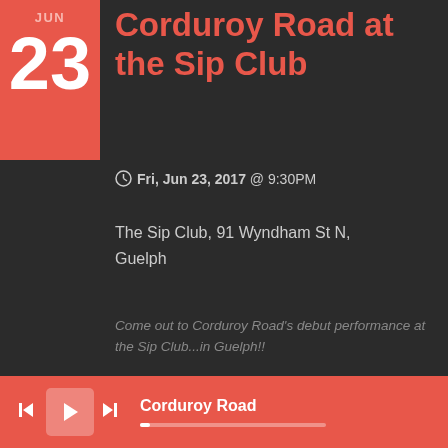Corduroy Road at the Sip Club
Fri, Jun 23, 2017 @ 9:30PM
The Sip Club, 91 Wyndham St N, Guelph
Come out to Corduroy Road's debut performance at the Sip Club...in Guelph!!
Share
View on Google Maps
Corduroy Road